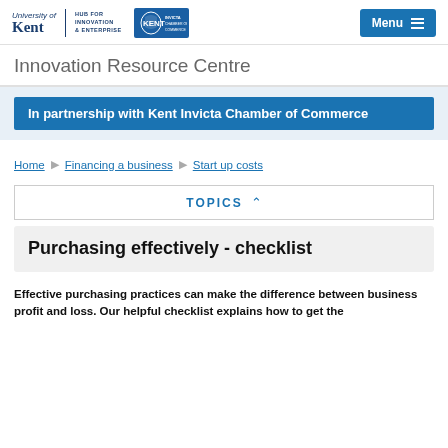University of Kent | HUB FOR INNOVATION & ENTERPRISE | Kent Invicta Chamber of Commerce | Menu
Innovation Resource Centre
In partnership with Kent Invicta Chamber of Commerce
Home  Financing a business  Start up costs
TOPICS
Purchasing effectively - checklist
Effective purchasing practices can make the difference between business profit and loss. Our helpful checklist explains how to get the